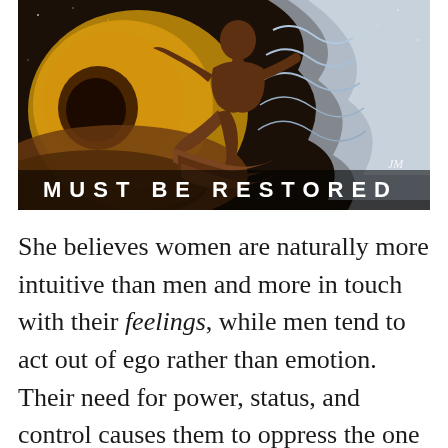[Figure (illustration): Artistic illustration of a dark-skinned female figure seated in a cosmic/spiritual scene, surrounded by golden shell-like forms on the left, flowing water/waves on the right, against a dark starry background. Text at the bottom of the image reads 'MUST BE RESTORED' in white spaced capital letters. Artist initials 'JM' visible in lower right of image.]
She believes women are naturally more intuitive than men and more in touch with their feelings, while men tend to act out of ego rather than emotion. Their need for power, status, and control causes them to oppress the one thing they cannot live